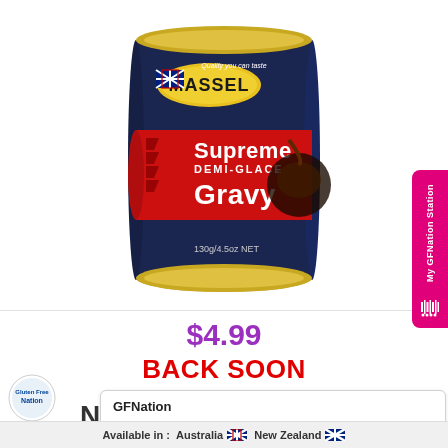[Figure (photo): A tin can of Massel Supreme Demi-Glace Gravy, 130g/4.5oz NET. The can has a navy blue and red label with the Massel brand name and Australian flag. Text reads 'Quality you can taste', 'Supreme DEMI-GLACE Gravy', '130g/4.5oz NET'. Shown with a food image on the right side of the can.]
$4.99
BACK SOON
GFNation
Hi there! Let us know if you have any questions 😊
Available in :  Australia  New Zealand